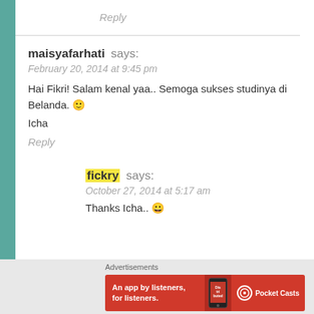Reply
maisyafarhati says:
February 20, 2014 at 9:45 pm
Hai Fikri! Salam kenal yaa.. Semoga sukses studinya di Belanda. 🙂
Icha
Reply
fickry says:
October 27, 2014 at 5:17 am
Thanks Icha.. 😀
[Figure (infographic): Pocket Casts advertisement banner: red background with text 'An app by listeners, for listeners.' and Pocket Casts logo, with a phone image showing 'Distributed' app]
Advertisements